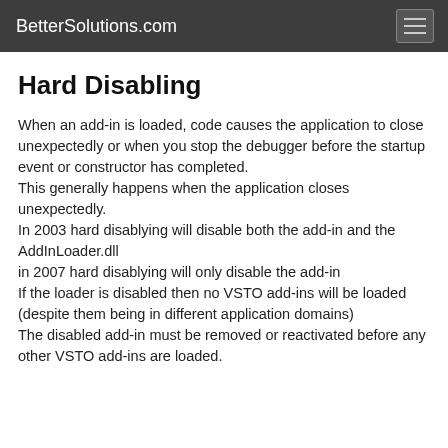BetterSolutions.com
Hard Disabling
When an add-in is loaded, code causes the application to close unexpectedly or when you stop the debugger before the startup event or constructor has completed.
This generally happens when the application closes unexpectedly.
In 2003 hard disablying will disable both the add-in and the AddInLoader.dll
in 2007 hard disablying will only disable the add-in
If the loader is disabled then no VSTO add-ins will be loaded (despite them being in different application domains)
The disabled add-in must be removed or reactivated before any other VSTO add-ins are loaded.